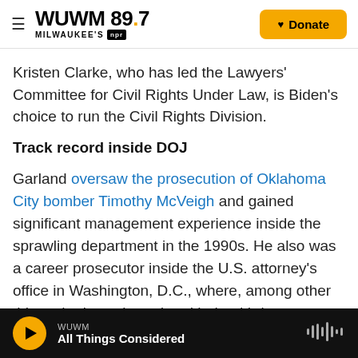WUWM 89.7 Milwaukee's NPR — Donate
Kristen Clarke, who has led the Lawyers' Committee for Civil Rights Under Law, is Biden's choice to run the Civil Rights Division.
Track record inside DOJ
Garland oversaw the prosecution of Oklahoma City bomber Timothy McVeigh and gained significant management experience inside the sprawling department in the 1990s. He also was a career prosecutor inside the U.S. attorney's office in Washington, D.C., where, among other things, he investigated and helped bring to justice the city's
WUWM — All Things Considered